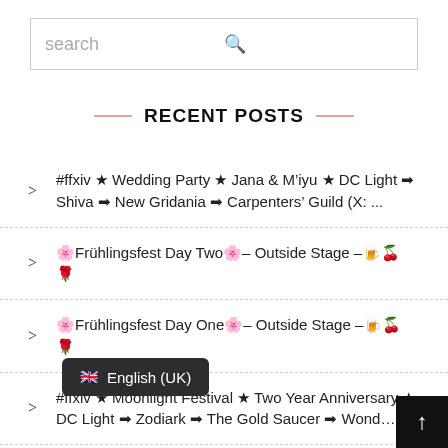search
RECENT POSTS
#ffxiv ★ Wedding Party ★ Jana & M'iyu ★ DC Light ➡ Shiva ➡ New Gridania ➡ Carpenters' Guild (X: ...
🌸Frühlingsfest Day Two🌸– Outside Stage –🍺🌷🌹
🌸Frühlingsfest Day One🌸– Outside Stage –🍺🌷🌹
#ffxiv ★ Moonlight Festival ★ Two Year Anniversary ★ DC Light ➡ Zodiark ➡ The Gold Saucer ➡ Wond...
🌸Frühlingsfest Day Two🌸– Inside Stage –🍺🌷🌹
English (UK)